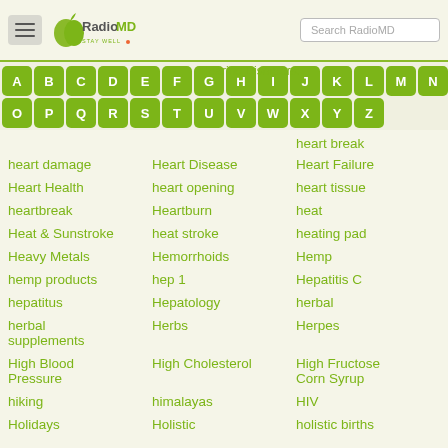RadioMD - Stay Well | Search RadioMD
Hearing Disorders:
heart break
heart damage
Heart Disease
Heart Failure
Heart Health
heart opening
heart tissue
heartbreak
Heartburn
heat
Heat & Sunstroke
heat stroke
heating pad
Heavy Metals
Hemorrhoids
Hemp
hemp products
hep 1
Hepatitis C
hepatitus
Hepatology
herbal
herbal supplements
Herbs
Herpes
High Blood Pressure
High Cholesterol
High Fructose Corn Syrup
hiking
himalayas
HIV
Holidays
Holistic
holistic births